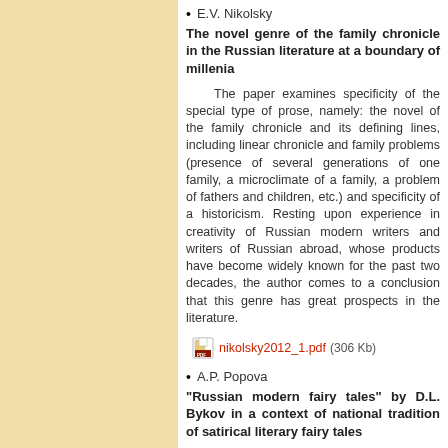E.V. Nikolsky
The novel genre of the family chronicle in the Russian literature at a boundary of millenia
The paper examines specificity of the special type of prose, namely: the novel of the family chronicle and its defining lines, including linear chronicle and family problems (presence of several generations of one family, a microclimate of a family, a problem of fathers and children, etc.) and specificity of a historicism. Resting upon experience in creativity of Russian modern writers and writers of Russian abroad, whose products have become widely known for the past two decades, the author comes to a conclusion that this genre has great prospects in the literature.
nikolsky2012_1.pdf (306 Kb)
A.P. Popova
"Russian modern fairy tales" by D.L. Bykov in a context of national tradition of satirical literary fairy tales
The paper discusses features of